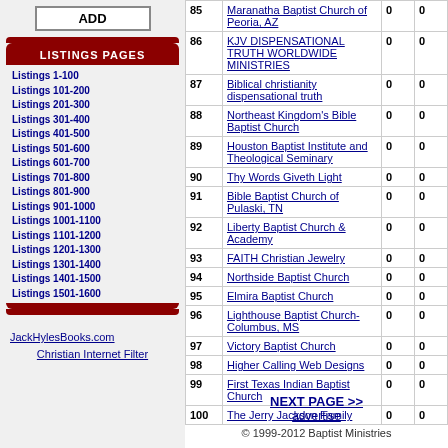ADD
LISTINGS PAGES
Listings 1-100
Listings 101-200
Listings 201-300
Listings 301-400
Listings 401-500
Listings 501-600
Listings 601-700
Listings 701-800
Listings 801-900
Listings 901-1000
Listings 1001-1100
Listings 1101-1200
Listings 1201-1300
Listings 1301-1400
Listings 1401-1500
Listings 1501-1600
JackHylesBooks.com
Christian Internet Filter
| # | Name | 0 | 0 |
| --- | --- | --- | --- |
| 85 | Maranatha Baptist Church of Peoria, AZ | 0 | 0 |
| 86 | KJV DISPENSATIONAL TRUTH WORLDWIDE MINISTRIES | 0 | 0 |
| 87 | Biblical christianity dispensational truth | 0 | 0 |
| 88 | Northeast Kingdom's Bible Baptist Church | 0 | 0 |
| 89 | Houston Baptist Institute and Theological Seminary | 0 | 0 |
| 90 | Thy Words Giveth Light | 0 | 0 |
| 91 | Bible Baptist Church of Pulaski, TN | 0 | 0 |
| 92 | Liberty Baptist Church & Academy | 0 | 0 |
| 93 | FAITH Christian Jewelry | 0 | 0 |
| 94 | Northside Baptist Church | 0 | 0 |
| 95 | Elmira Baptist Church | 0 | 0 |
| 96 | Lighthouse Baptist Church-Columbus, MS | 0 | 0 |
| 97 | Victory Baptist Church | 0 | 0 |
| 98 | Higher Calling Web Designs | 0 | 0 |
| 99 | First Texas Indian Baptist Church | 0 | 0 |
| 100 | The Jerry Jackson Family | 0 | 0 |
NEXT PAGE >>
advertise
© 1999-2012 Baptist Ministries